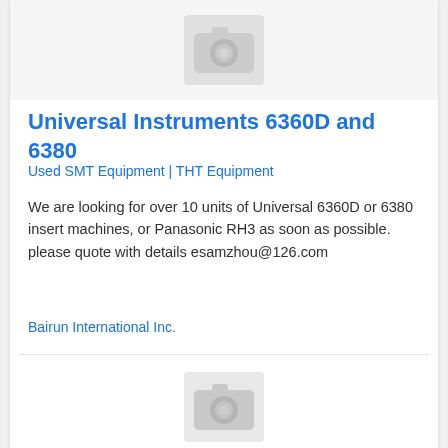[Figure (photo): Placeholder camera icon image at top of listing card]
Universal Instruments 6360D and 6380
Used SMT Equipment | THT Equipment
We are looking for over 10 units of Universal 6360D or 6380 insert machines, or Panasonic RH3 as soon as possible. please quote with details esamzhou@126.com
Bairun International Inc.
[Figure (photo): Placeholder camera icon image at bottom of listing card]